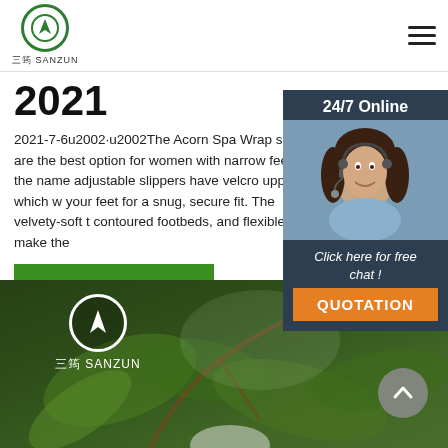三筠 SANZUN
2021
2021-7-6u2002·u2002The Acorn Spa Wrap slippers are the best option for women with narrow feet. As the name adjustable slippers have velcro uppers, which w your feet for a snug, secure fit. The velvety-soft t contoured footbeds, and flexible soles make the
Get Price
24/7 Online
Click here for free chat !
QUOTATION
[Figure (photo): Customer service agent — woman with headset smiling, overlaid on dark navy background as part of 24/7 online chat widget]
[Figure (photo): Outdoor nature scene with green leaves and foliage, showing SANZUN logo overlay at top-left, and a scroll-up arrow button at bottom-right]